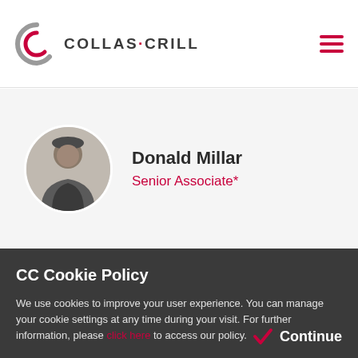COLLAS·CRILL
[Figure (photo): Circular headshot of Donald Millar, a man in a suit smiling]
Donald Millar
Senior Associate*
CC Cookie Policy
We use cookies to improve your user experience. You can manage your cookie settings at any time during your visit. For further information, please click here to access our policy.
Continue